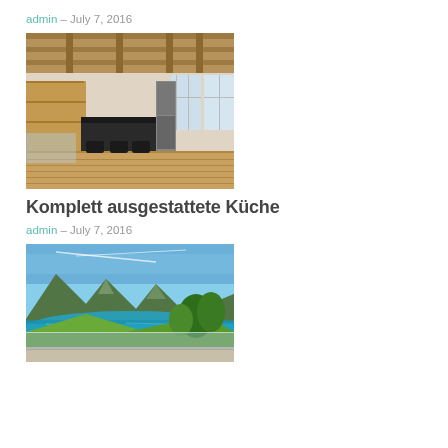admin – July 7, 2016
[Figure (photo): Interior photo of a fully equipped kitchen with wooden ceiling beams, wooden cabinetry, dark island, and hardwood floor, with windows letting in natural light.]
Komplett ausgestattete Küche
admin – July 7, 2016
[Figure (photo): Outdoor photo of a balcony or terrace with a glass railing overlooking a turquoise mountain lake surrounded by green hills and mountains under a blue sky.]